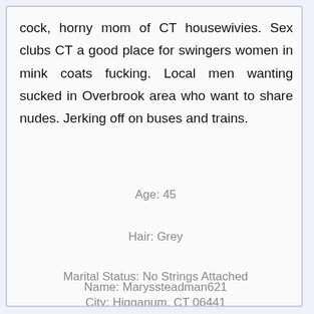cock, horny mom of CT housewivies. Sex clubs CT a good place for swingers women in mink coats fucking. Local men wanting sucked in Overbrook area who want to share nudes. Jerking off on buses and trains.
Age: 45
Hair: Grey
Marital Status: No Strings Attached
Name: Maryssteadman621
City: Higganum, CT 06441